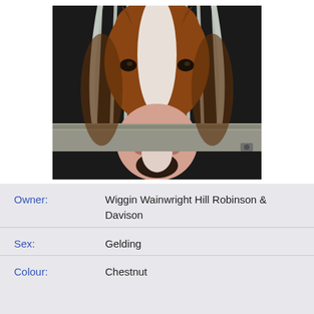[Figure (photo): Close-up front-facing photograph of a chestnut horse with a wide white blaze on its face, leaning over a stable door with metal bars visible behind it. The nose and muzzle are pink-white. Background is dark stable interior.]
| Owner: | Wiggin Wainwright Hill Robinson & Davison |
| Sex: | Gelding |
| Colour: | Chestnut |